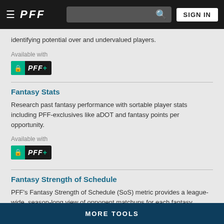PFF — SIGN IN
identifying potential over and undervalued players.
Available with
[Figure (logo): PFF+ subscription badge with green lock icon and white italic PFF+ text on dark background]
Fantasy Stats
Research past fantasy performance with sortable player stats including PFF-exclusives like aDOT and fantasy points per opportunity.
Available with
[Figure (logo): PFF+ subscription badge with green lock icon and white italic PFF+ text on dark background]
Fantasy Strength of Schedule
PFF's Fantasy Strength of Schedule (SoS) metric provides a league-wide, season-long view of opponent matchups for each fantasy position.
Available with
[Figure (logo): PFF+ subscription badge with green lock icon and white italic PFF+ text on dark background]
MORE TOOLS